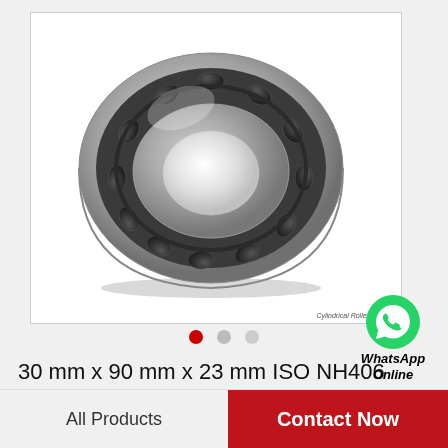[Figure (photo): Cylindrical roller bearing (ISO NH406), 30mm x 90mm x 23mm, silver metallic outer ring with black cylindrical rollers visible, shown at slight angle on white background]
WhatsApp Online
30 mm x 90 mm x 23 mm ISO NH406 cylindrical roller bearings
All Products
Contact Now